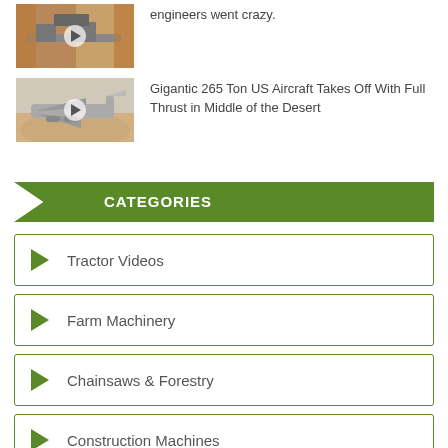[Figure (photo): Thumbnail image of construction/mining machinery in a tunnel or trench, with a play button overlay]
engineers went crazy.
[Figure (photo): Thumbnail image of a large military cargo aircraft (C-17 or similar) taking off in the desert, with a play button overlay]
Gigantic 265 Ton US Aircraft Takes Off With Full Thrust in Middle of the Desert
CATEGORIES
Tractor Videos
Farm Machinery
Chainsaws & Forestry
Construction Machines